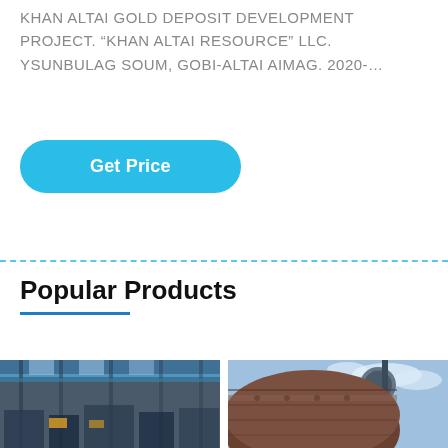KHAN ALTAI GOLD DEPOSIT DEVELOPMENT PROJECT. “KHAN ALTAI RESOURCE” LLC. YSUNBULAG SOUM, GOBI-ALTAI AIMAG. 2020-…
Get Price
Popular Products
[Figure (photo): Industrial factory/workshop interior with steel structure roof and heavy machinery]
[Figure (photo): Close-up of large industrial cylindrical drum/mill equipment with industrial tower in background]